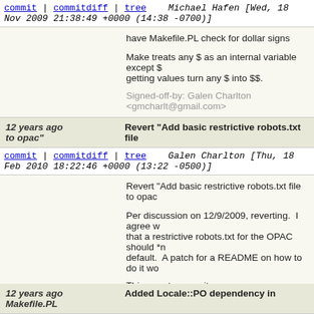commit | commitdiff | tree   Michael Hafen [Wed, 18 Nov 2009 21:38:49 +0000 (14:38 -0700)]
have Makefile.PL check for dollar signs

Make treats any $ as an internal variable except $$. Scripts getting values turn any $ into $$.

Signed-off-by: Galen Charlton <gmcharlt@gmail.com>
12 years ago   Revert "Add basic restrictive robots.txt file to opac"
commit | commitdiff | tree   Galen Charlton [Thu, 18 Feb 2010 18:22:46 +0000 (13:22 -0500)]
Revert "Add basic restrictive robots.txt file to opac"

Per discussion on 12/9/2009, reverting. I agree w that a restrictive robots.txt for the OPAC should *n default. A patch for a README on how to do it wo

This reverts commit 6822d69d955627302abe3f78

Signed-off-by: Galen Charlton <gmcharlt@gmail.com>
12 years ago   Added Locale::PO dependency in Makefile.PL